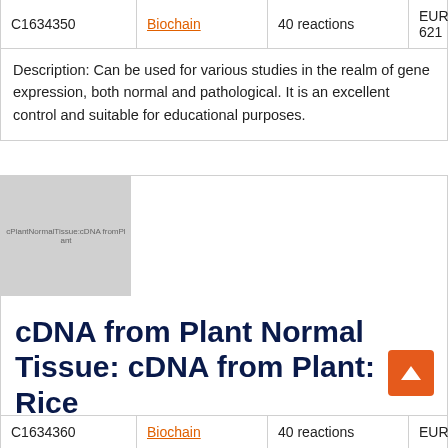| Cat# | Supplier | Qty | Price |
| --- | --- | --- | --- |
| C1634350 | Biochain | 40 reactions | EUR 621 |
Description: Can be used for various studies in the realm of gene expression, both normal and pathological. It is an excellent control and suitable for educational purposes.
[Figure (photo): Placeholder image for cDNA from Plant Normal Tissue: cDNA from Plant: Rice product]
cDNA from Plant Normal Tissue: cDNA from Plant: Rice
| Cat# | Supplier | Qty | Price |
| --- | --- | --- | --- |
| C1634360 | Biochain | 40 reactions | EUR |